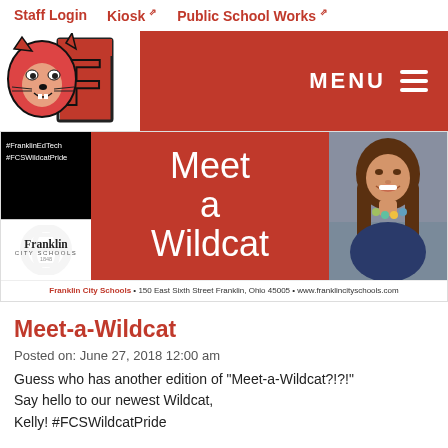Staff Login   Kiosk   Public School Works
[Figure (screenshot): Franklin City Schools website header with wildcat mascot logo on white background and red navigation bar with MENU hamburger button]
[Figure (infographic): Meet a Wildcat banner with black left panel showing hashtags #FranklinEdTech and #FCSWildcatPride, Franklin City Schools logo in white box, red center panel with 'Meet a Wildcat' text in white script, and a photo of a smiling young woman on the right side]
Meet-a-Wildcat
Posted on: June 27, 2018 12:00 am
Guess who has another edition of "Meet-a-Wildcat?!?!" Say hello to our newest Wildcat, Kelly! #FCSWildcatPride